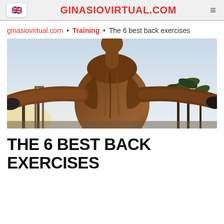🇬🇧 GINASIOVIRTUAL.COM ≡
ginasiovirtual.com • Training • The 6 best back exercises
[Figure (photo): Muscular man seen from behind with arms spread wide, outdoors near palm trees and exercise equipment, showing a very defined back musculature.]
THE 6 BEST BACK EXERCISES